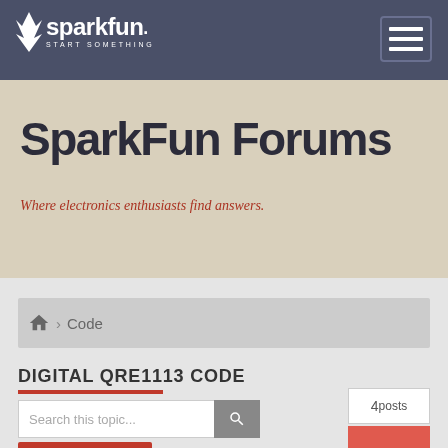SparkFun - START SOMETHING
SparkFun Forums
Where electronics enthusiasts find answers.
Code
DIGITAL QRE1113 CODE
Search this topic...
4posts